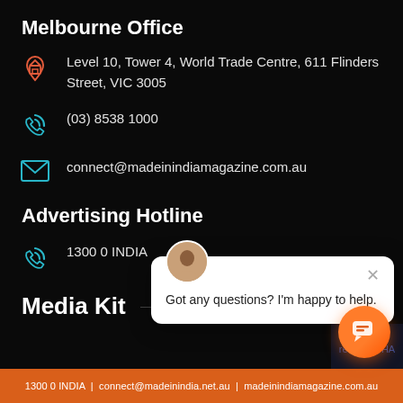Melbourne Office
Level 10, Tower 4, World Trade Centre, 611 Flinders Street, VIC 3005
(03) 8538 1000
connect@madeinindiamagazine.com.au
Advertising Hotline
1300 0 INDIA
Media Kit
[Figure (screenshot): Chat popup overlay with avatar, close button, and message: Got any questions? I'm happy to help.]
[Figure (illustration): Orange chat button with speech bubble icon]
1300 0 INDIA | connect@madeinindia.net.au | madeinindiamagazine.com.au